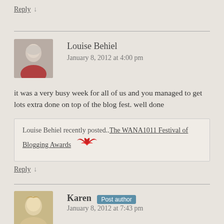Reply ↓
Louise Behiel
January 8, 2012 at 4:00 pm
it was a very busy week for all of us and you managed to get lots extra done on top of the blog fest. well done
Louise Behiel recently posted..The WANA1011 Festival of Blogging Awards
Reply ↓
Karen Post author
January 8, 2012 at 7:43 pm